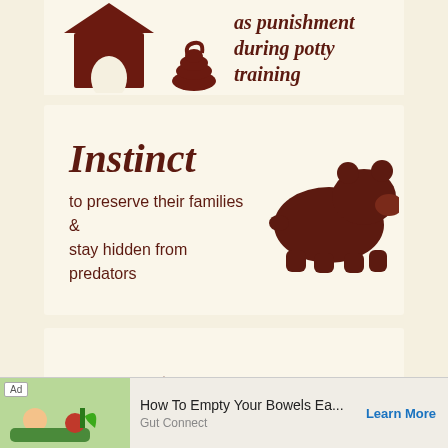[Figure (infographic): Top panel (cropped): dark brown silhouette of dog house and poop icon, text reads 'as punishment during potty training' in dark brown bold serif font]
[Figure (infographic): Instinct panel: bold italic text 'Instinct' with description 'to preserve their families & stay hidden from predators', accompanied by dark brown silhouette of a bear]
[Figure (infographic): Dominance panel: dark brown silhouette of large dog standing over smaller submissive dog with poop icon, text reads 'Dominance by submissive dogs in packs to please their dominant pack leader']
[Figure (infographic): Neglect panel (partially visible): text 'Neglect' with partial text 'when starving will eat', fork and plate icons visible]
[Figure (infographic): Ad banner at bottom: advertisement for 'How To Empty Your Bowels Ea...' by Gut Connect with Learn More link]